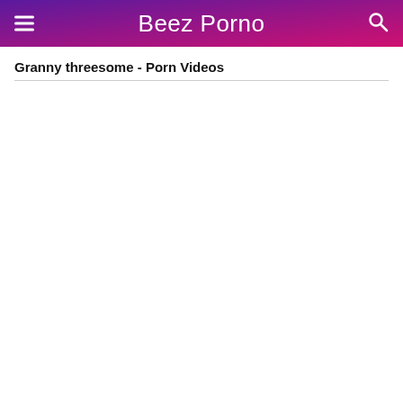Beez Porno
Granny threesome - Porn Videos